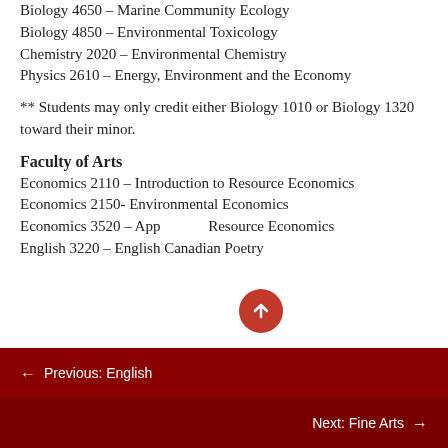Biology 4650 – Marine Community Ecology
Biology 4850 – Environmental Toxicology
Chemistry 2020 – Environmental Chemistry
Physics 2610 – Energy, Environment and the Economy
** Students may only credit either Biology 1010 or Biology 1320 toward their minor.
Faculty of Arts
Economics 2110 – Introduction to Resource Economics
Economics 2150- Environmental Economics
Economics 3520 – Applied Resource Economics
English 3220 – English Canadian Poetry
← Previous: English     Next: Fine Arts →